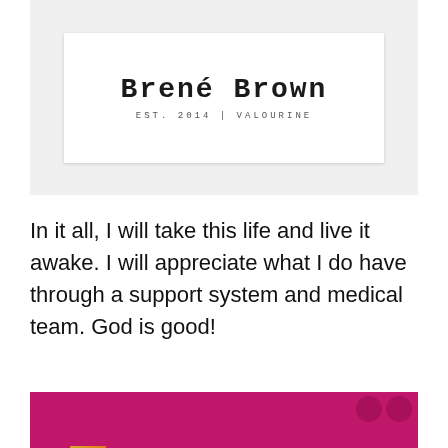[Figure (other): A card-style image with 'Brené Brown' in typewriter font and 'EST. 2014 | VALOURINE' subtitle on white background with gray border frame]
In it all, I will take this life and live it awake. I will appreciate what I do have through a support system and medical team. God is good!
[Figure (other): Magenta/hot pink background with large italic 'Joy' text filled with a wildflower meadow photo (yellows, greens, reds, blues). Two dark pink circles in top right corner. White bold text at bottom reading 'is what happens']